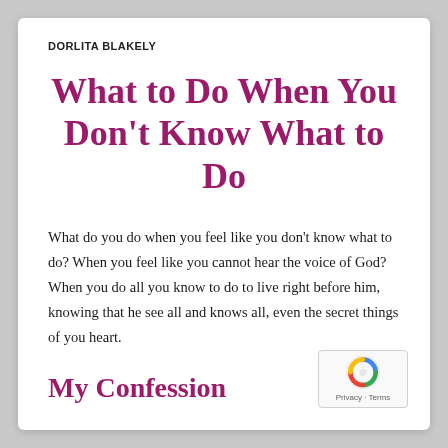DORLITA BLAKELY
What to Do When You Don't Know What to Do
What do you do when you feel like you don't know what to do? When you feel like you cannot hear the voice of God? When you do all you know to do to live right before him, knowing that he see all and knows all, even the secret things of you heart.
My Confession